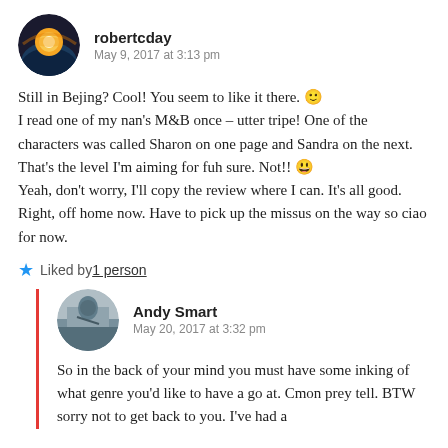robertcday
May 9, 2017 at 3:13 pm
Still in Bejing? Cool! You seem to like it there. 🙂
I read one of my nan's M&B once – utter tripe! One of the characters was called Sharon on one page and Sandra on the next. That's the level I'm aiming for fuh sure. Not!! 😀
Yeah, don't worry, I'll copy the review where I can. It's all good.
Right, off home now. Have to pick up the missus on the way so ciao for now.
★ Liked by 1 person
Andy Smart
May 20, 2017 at 3:32 pm
So in the back of your mind you must have some inking of what genre you'd like to have a go at. Cmon prey tell. BTW sorry not to get back to you. I've had a